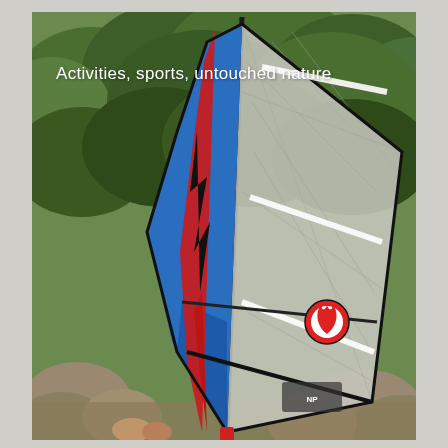[Figure (photo): A windsurfing sail with blue, red, and grey panels featuring a flame logo, set against a lush green tree backdrop with rocky shoreline at the bottom. Text overlay reads 'Activities, sports, untouched nature'.]
Activities, sports, untouched nature